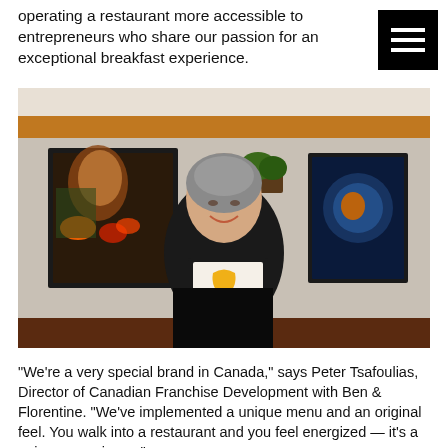operating a restaurant more accessible to entrepreneurs who share our passion for an exceptional breakfast experience.
[Figure (photo): A smiling woman in a black shirt holding a menu/folder inside a restaurant with art on the walls and an orange accent stripe near the ceiling.]
“We’re a very special brand in Canada,” says Peter Tsafoulias, Director of Canadian Franchise Development with Ben & Florentine. “We’ve implemented a unique menu and an original feel. You walk into a restaurant and you feel energized — it’s a unique experience.”